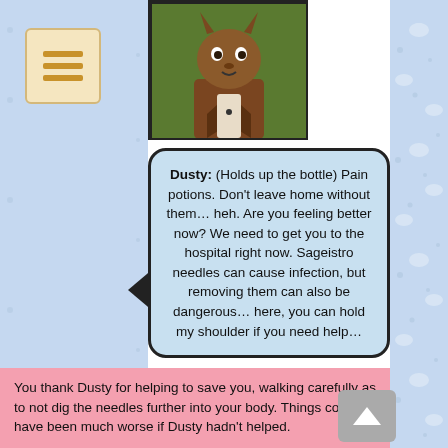[Figure (illustration): Menu/hamburger button icon with three horizontal orange bars on a beige/tan rounded rectangle background]
[Figure (illustration): Character portrait of Dusty — an anthropomorphic brown creature in a brown jacket against a green background, shown from the torso up]
Dusty: (Holds up the bottle) Pain potions. Don't leave home without them… heh. Are you feeling better now? We need to get you to the hospital right now. Sageistro needles can cause infection, but removing them can also be dangerous… here, you can hold my shoulder if you need help…
You thank Dusty for helping to save you, walking carefully as to not dig the needles further into your body. Things could have been much worse if Dusty hadn't helped.

You sure won't be sitting under cacti